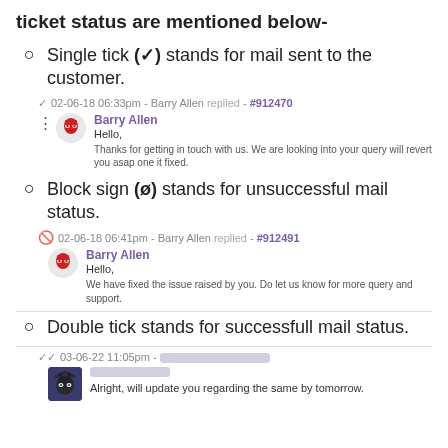ticket status are mentioned below-
Single tick (✓) stands for mail sent to the customer.
02-06-18 06:33pm - Barry Allen replied - #912470
Barry Allen
Hello,
Thanks for getting in touch with us. We are looking into your query will revert you asap one it fixed.
Block sign (ø) stands for unsuccessful mail status.
02-06-18 06:41pm - Barry Allen replied - #912491
Barry Allen
Hello,
We have fixed the issue raised by you. Do let us know for more query and support.
Double tick stands for successfull mail status.
03-06-22 11:05pm - [redacted]
[redacted]
Alright, will update you regarding the same by tomorrow.